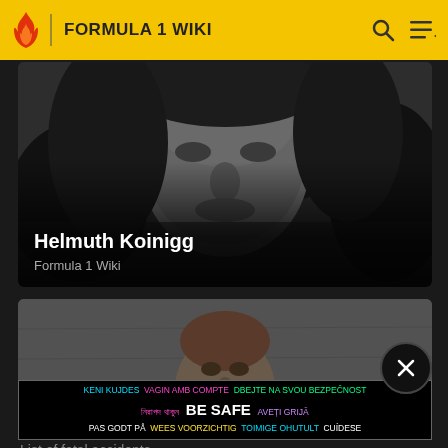FORMULA 1 WIKI
[Figure (photo): Black and white close-up photo of Helmuth Koinigg, a young man with long hair]
Helmuth Koinigg
Formula 1 Wiki
[Figure (photo): Black and white photo of a young man smiling in front of a concrete wall]
[Figure (infographic): Safety advertising banner with 'BE SAFE' in large white/bold text surrounded by multilingual safety phrases in various colors: KENI KUJDES, VAGIN AMB COMPTE, DBEJTE NA SVOU BEZPECNOST, নিরাপদ থাকুন, AVETI GRIJA, PAS GODT PA, WEES VOORZICHTIG, TOIMIGE OHUTULT, CUIDESE]
List of fatal accidents